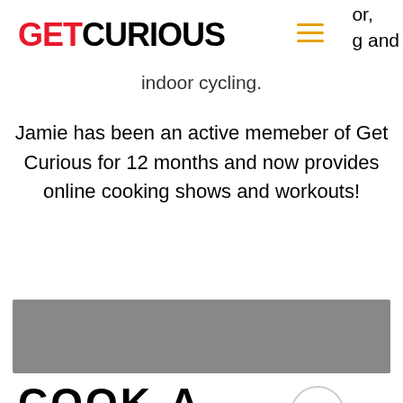GETCURIOUS
or, g and indoor cycling.
Jamie has been an active memeber of Get Curious for 12 months and now provides online cooking shows and workouts!
[Figure (photo): Grey image placeholder bar]
COOK-A-LONG
Jamie and his gang have a weekly get together